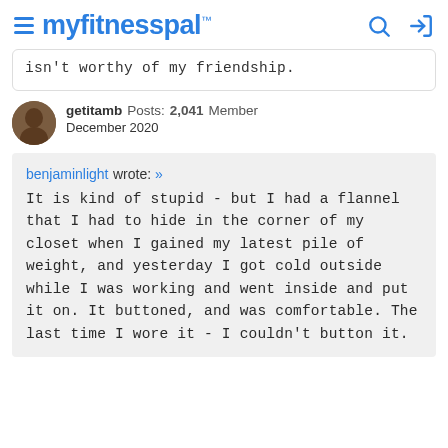myfitnesspal
isn't worthy of my friendship.
getitamb  Posts: 2,041  Member
December 2020
benjaminlight wrote: »
It is kind of stupid - but I had a flannel that I had to hide in the corner of my closet when I gained my latest pile of weight, and yesterday I got cold outside while I was working and went inside and put it on. It buttoned, and was comfortable. The last time I wore it - I couldn't button it.